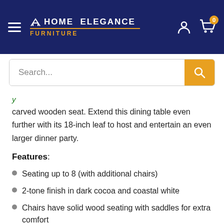Home Elegance Furniture
carved wooden seat. Extend this dining table even further with its 18-inch leaf to host and entertain an even larger dinner party.
Features:
Seating up to 8 (with additional chairs)
2-tone finish in dark cocoa and coastal white
Chairs have solid wood seating with saddles for extra comfort
18 inch Table extension leaf
Cottage style